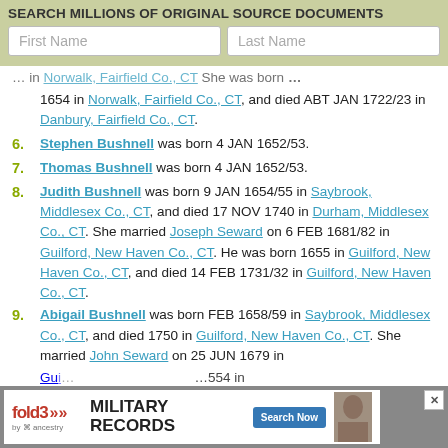SEARCH MILLIONS OF ORIGINAL SOURCE DOCUMENTS
First Name [input] Last Name [input]
(partial) ...1654 in Norwalk, Fairfield Co., CT, and died ABT JAN 1722/23 in Danbury, Fairfield Co., CT.
6. Stephen Bushnell was born 4 JAN 1652/53.
7. Thomas Bushnell was born 4 JAN 1652/53.
8. Judith Bushnell was born 9 JAN 1654/55 in Saybrook, Middlesex Co., CT, and died 17 NOV 1740 in Durham, Middlesex Co., CT. She married Joseph Seward on 6 FEB 1681/82 in Guilford, New Haven Co., CT. He was born 1655 in Guilford, New Haven Co., CT, and died 14 FEB 1731/32 in Guilford, New Haven Co., CT.
9. Abigail Bushnell was born FEB 1658/59 in Saybrook, Middlesex Co., CT, and died 1750 in Guilford, New Haven Co., CT. She married John Seward on 25 JUN 1679 in Guilford, New Haven Co., CT. He was born 1654 in Guilford, New Haven Co., CT...